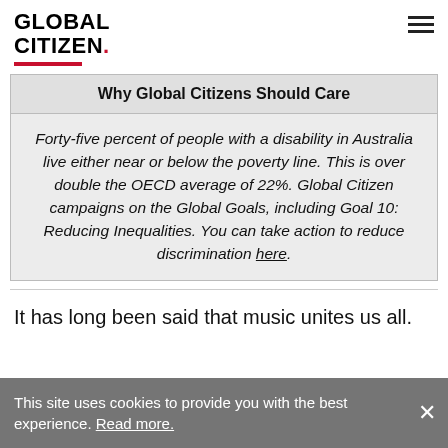GLOBAL CITIZEN
Why Global Citizens Should Care
Forty-five percent of people with a disability in Australia live either near or below the poverty line. This is over double the OECD average of 22%. Global Citizen campaigns on the Global Goals, including Goal 10: Reducing Inequalities. You can take action to reduce discrimination here.
It has long been said that music unites us all.
This site uses cookies to provide you with the best experience. Read more.